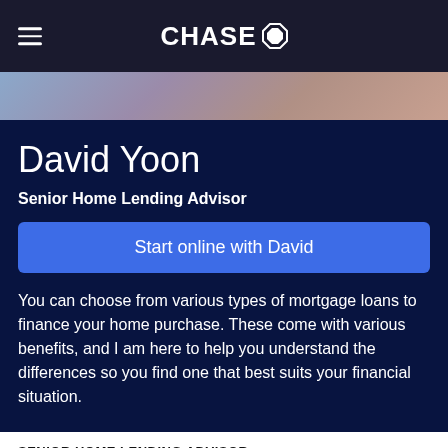CHASE
David Yoon
Senior Home Lending Advisor
Start online with David
You can choose from various types of mortgage loans to finance your home purchase. These come with various benefits, and I am here to help you understand the differences so you find one that best suits your financial situation.
SENIOR HOME LENDING ADVISOR
NMLS ID: 1591658